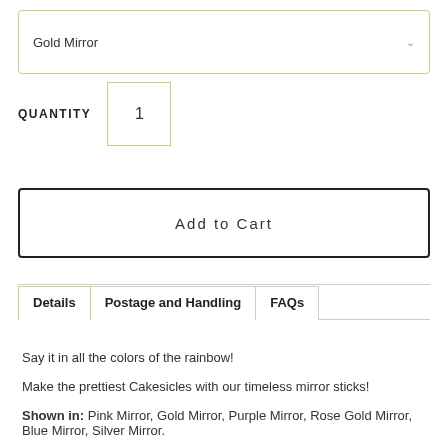Gold Mirror
QUANTITY  1
Add to Cart
Details
Postage and Handling
FAQs
Say it in all the colors of the rainbow!
Make the prettiest Cakesicles with our timeless mirror sticks!
Shown in: Pink Mirror, Gold Mirror, Purple Mirror, Rose Gold Mirror, Blue Mirror, Silver Mirror.